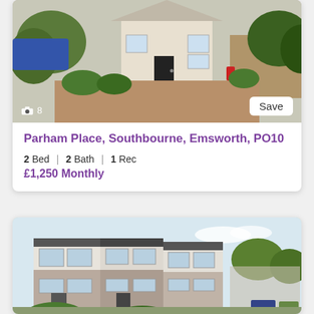[Figure (photo): Exterior photo of a semi-detached house with brick driveway, trees and shrubs in front, black front door. Photo count badge showing camera icon and '8'. Save button in bottom right.]
Parham Place, Southbourne, Emsworth, PO10
2 Bed | 2 Bath | 1 Rec
£1,250 Monthly
[Figure (photo): Exterior photo of a row of terraced houses, modern style with brick and white panels, flat rooflines, multiple large windows, trees in background.]